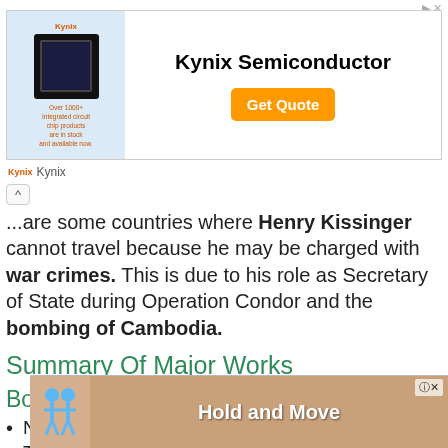[Figure (screenshot): Kynix Semiconductor advertisement banner with chip image, company name, and Get Quote button]
There are some countries where Henry Kissinger cannot travel because he may be charged with war crimes. This is due to his role as Secretary of State during Operation Condor and the bombing of Cambodia.
Summary Of Major Works
Books:
Nuclear Weapons and Foreign Policy (1957)
The ...
Year...
[Figure (screenshot): Hold and Move game advertisement overlay at bottom of page]